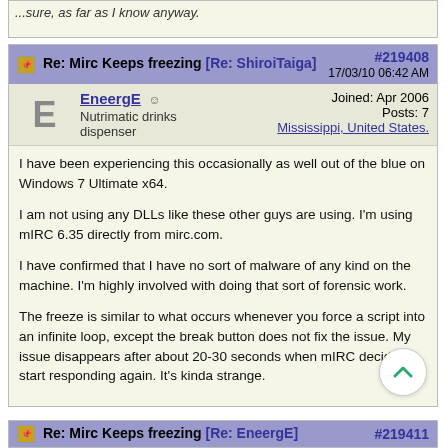...sure, as far as I know anyway.
Re: Mirc Keeps freezing [Re: ShiroiTaiga] #219408 17/03/10 06:42 AM
EneergE ☺ Nutrimatic drinks dispenser | Joined: Apr 2006 Posts: 7 Mississippi, United States.
I have been experiencing this occasionally as well out of the blue on Windows 7 Ultimate x64.

I am not using any DLLs like these other guys are using. I'm using mIRC 6.35 directly from mirc.com.

I have confirmed that I have no sort of malware of any kind on the machine. I'm highly involved with doing that sort of forensic work.

The freeze is similar to what occurs whenever you force a script into an infinite loop, except the break button does not fix the issue. My issue disappears after about 20-30 seconds when mIRC decides to start responding again. It's kinda strange.
Re: Mirc Keeps freezing [Re: EneergE] #219411